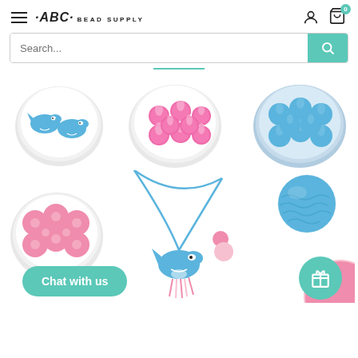ABC Bead Supply — navigation header with hamburger menu, logo, account and cart icons
Search...
[Figure (screenshot): Product images: three bowls of beads (whale charms in grey bowl, pink silicone beads, blue silicone beads) in top row; bottom row shows pink silicone bead bowl, a whale teether necklace on blue cord, and a blue textured bead with teal gift button overlay; teal 'Chat with us' button overlays bottom left]